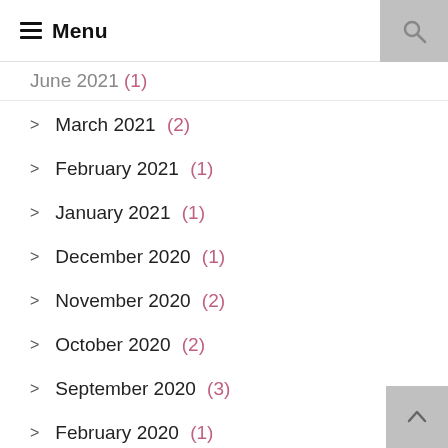Menu
June 2021 (1)
March 2021 (2)
February 2021 (1)
January 2021 (1)
December 2020 (1)
November 2020 (2)
October 2020 (2)
September 2020 (3)
February 2020 (1)
January 2020 (1)
December 2019 (1)